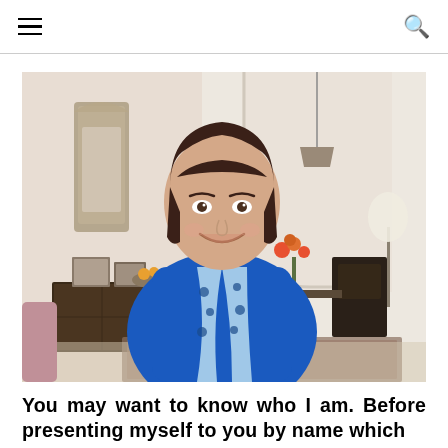☰  🔍
[Figure (photo): An older woman with short dark brown hair, wearing a bright blue sweater and a blue-and-white leopard-print scarf, smiling at the camera. She is standing in an elegant white-walled room with an arched doorway, a Moroccan-style mirror on the left wall, framed photos and a wooden chest of drawers, flowers and dark chairs visible in the background, and a patterned rug on the floor.]
You may want to know who I am. Before presenting myself to you by name which